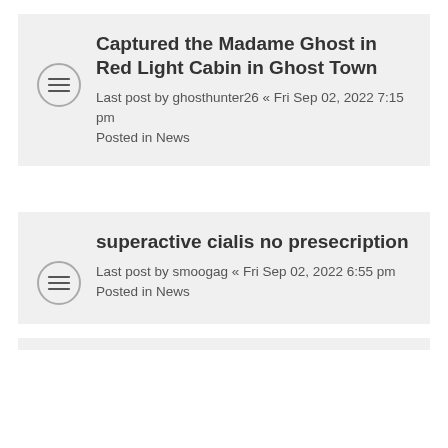Captured the Madame Ghost in Red Light Cabin in Ghost Town
Last post by ghosthunter26 « Fri Sep 02, 2022 7:15 pm
Posted in News
superactive cialis no presecription
Last post by smoogag « Fri Sep 02, 2022 6:55 pm
Posted in News